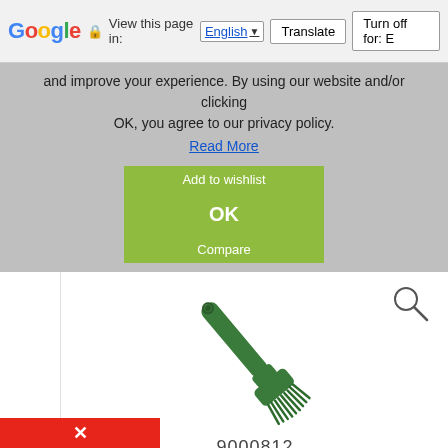Google | View this page in: English | Translate | Turn off for: E
and improve your experience. By using our website and/or clicking OK, you agree to our privacy policy.
Read More
Add to wishlist
OK
Compare
[Figure (photo): Green dish washing brush with long handle and bristles at bottom end]
9000812
4,49 €
ADD TO CART
Qty: Out of Stock